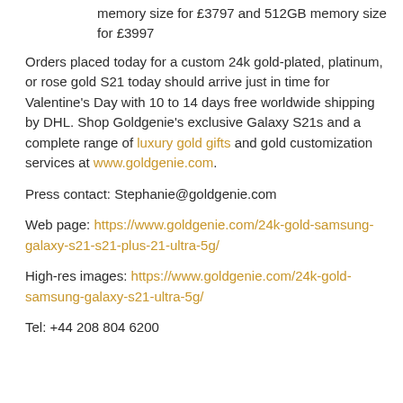memory size for £3797 and 512GB memory size for £3997
Orders placed today for a custom 24k gold-plated, platinum, or rose gold S21 today should arrive just in time for Valentine's Day with 10 to 14 days free worldwide shipping by DHL. Shop Goldgenie's exclusive Galaxy S21s and a complete range of luxury gold gifts and gold customization services at www.goldgenie.com.
Press contact: Stephanie@goldgenie.com
Web page: https://www.goldgenie.com/24k-gold-samsung-galaxy-s21-s21-plus-21-ultra-5g/
High-res images: https://www.goldgenie.com/24k-gold-samsung-galaxy-s21-ultra-5g/
Tel: +44 208 804 6200